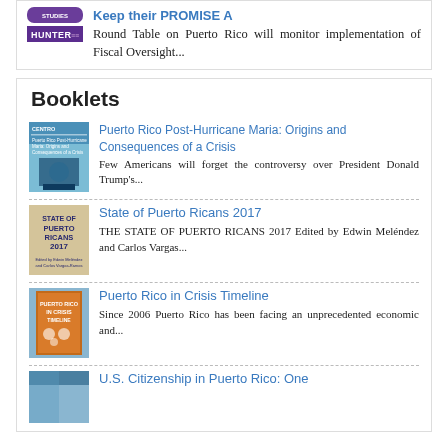Keep their PROMISE A Round Table on Puerto Rico will monitor implementation of Fiscal Oversight...
Booklets
Puerto Rico Post-Hurricane Maria: Origins and Consequences of a Crisis
Few Americans will forget the controversy over President Donald Trump's...
State of Puerto Ricans 2017
THE STATE OF PUERTO RICANS 2017 Edited by Edwin Meléndez and Carlos Vargas...
Puerto Rico in Crisis Timeline
Since 2006 Puerto Rico has been facing an unprecedented economic and...
U.S. Citizenship in Puerto Rico: One